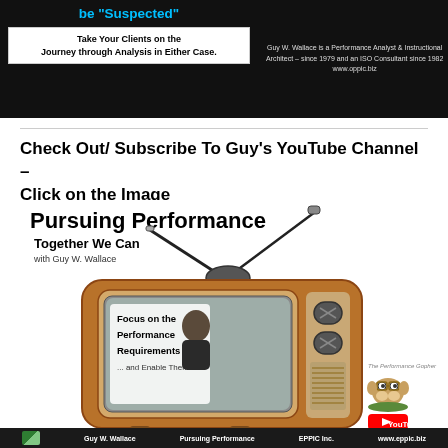[Figure (illustration): Top banner with dark background showing 'be Suspected' title in cyan, a white box with text 'Take Your Clients on the Journey through Analysis in Either Case.', and right side text about Guy W. Wallace being a Performance Analyst & Instructional Architect since 1979 and ISO Consultant since 1982, www.oppic.biz]
Check Out/ Subscribe To Guy's YouTube Channel – Click on the Image
[Figure (illustration): YouTube channel promotional image for 'Pursuing Performance - Together We Can' with Guy W. Wallace, showing a retro TV illustration with text 'Focus on the Performance Requirements ... and Enable Them', YouTube logo, and Performance Gopher mascot]
Guy W. Wallace   Pursuing Performance   EPPIC Inc.   www.eppic.biz